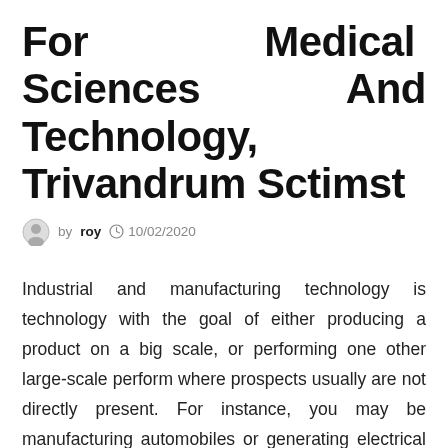For Medical Sciences And Technology, Trivandrum Sctimst
by roy  10/02/2020
Industrial and manufacturing technology is technology with the goal of either producing a product on a big scale, or performing one other large-scale perform where prospects usually are not directly present. For instance, you may be manufacturing automobiles or generating electrical energy. Cars are created utilizing mechanical robots, which is very advanced technology. It may sound like something from a sci-fi present, or